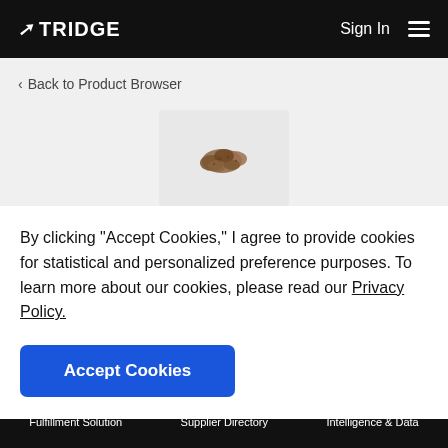TRIDGE   Sign In  ☰
< Back to Product Browser
[Figure (photo): Small image of camellia tea seeds on a light grey background]
Camellia Tea Seed
By clicking "Accept Cookies," I agree to provide cookies for statistical and personalized preference purposes. To learn more about our cookies, please read our Privacy Policy.
Accept Cookies
Fulfillment Solution   Supplier Directory   Intelligence & Data